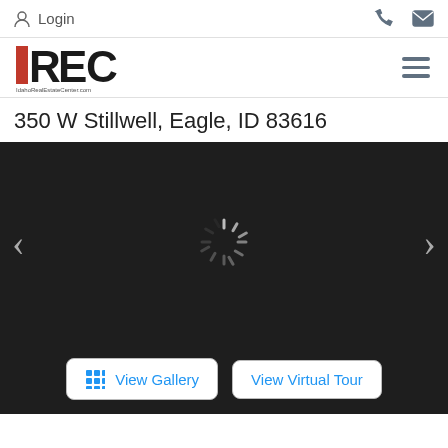Login  [phone icon]  [mail icon]
[Figure (logo): Idaho Real Estate Center logo — REC letters with IDAHO vertically on the I, and IdahoRealEstateCenter.com text below]
350 W Stillwell, Eagle, ID 83616
[Figure (screenshot): Dark image slider/carousel area with a loading spinner in the center, left arrow on the left side, right arrow on the right side, and two buttons at the bottom: 'View Gallery' and 'View Virtual Tour']